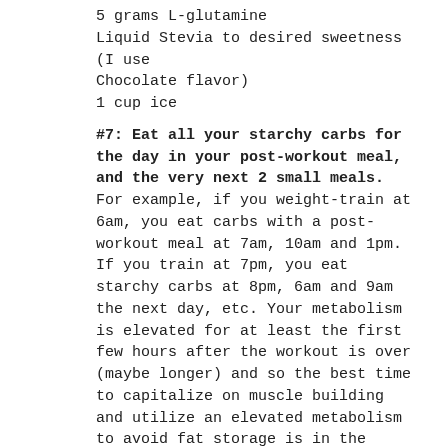5 grams L-glutamine
Liquid Stevia to desired sweetness (I use Chocolate flavor)
1 cup ice
#7: Eat all your starchy carbs for the day in your post-workout meal, and the very next 2 small meals. For example, if you weight-train at 6am, you eat carbs with a post-workout meal at 7am, 10am and 1pm. If you train at 7pm, you eat starchy carbs at 8pm, 6am and 9am the next day, etc. Your metabolism is elevated for at least the first few hours after the workout is over (maybe longer) and so the best time to capitalize on muscle building and utilize an elevated metabolism to avoid fat storage is in the hours following your workout. Starchy carbs include foods like potatoes, brown rice, oatmeal, squash, zucchini, pumpkin, whole grains, quinoa, etc. Consume your designated bites of starch according to your ME Burner Type at each of the meals. At all other meals (2-3), eat just lean protein and fibrous veggies (greens, etc). More about Best Carb Choices.